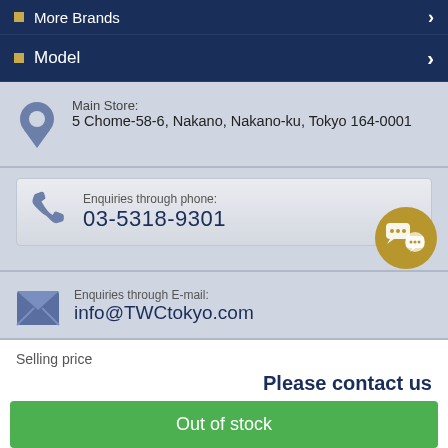More Brands
Model
Main Store:
5 Chome-58-6, Nakano, Nakano-ku, Tokyo 164-0001
Enquiries through phone:
03-5318-9301
Enquiries through E-mail:
info@TWCtokyo.com
Selling price
Please contact us
Out of stock